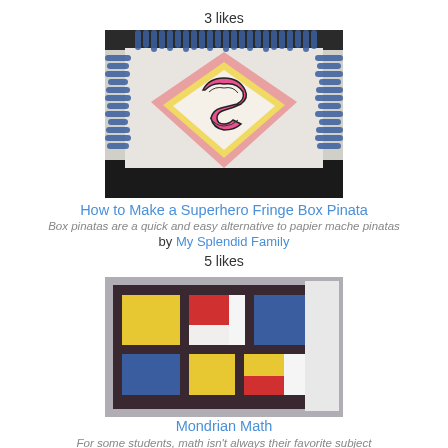3 likes
[Figure (photo): A Superman-themed fringe box pinata with blue tissue paper fringe and a drawn Superman shield logo in the center]
How to Make a Superhero Fringe Box Pinata
Box pinatas are a quick and easy alternative to papier mache pinatas
by My Splendid Family
5 likes
[Figure (photo): A Mondrian Math art project showing colored paper squares (yellow, blue, red, white) arranged in a Mondrian-style geometric pattern with dark brown/black dividing lines]
Mondrian Math
For some students, math isn't always their favorite subject